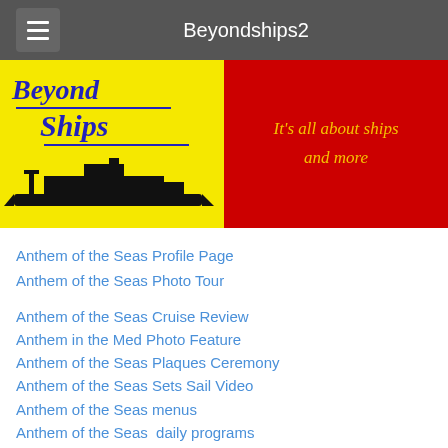Beyondships2
[Figure (screenshot): Beyond Ships website banner: left half yellow background with 'Beyond Ships' italic blue logo text and ship silhouette; right half red background with gold italic text 'It's all about ships and more']
Anthem of the Seas Profile Page
Anthem of the Seas Photo Tour
Anthem of the Seas Cruise Review
Anthem in the Med Photo Feature
Anthem of the Seas Plaques Ceremony
Anthem of the Seas Sets Sail Video
Anthem of the Seas menus
Anthem of the Seas  daily programs
Anthem of the Seas deck plans
Anthem of the Seas Hotel Director interview